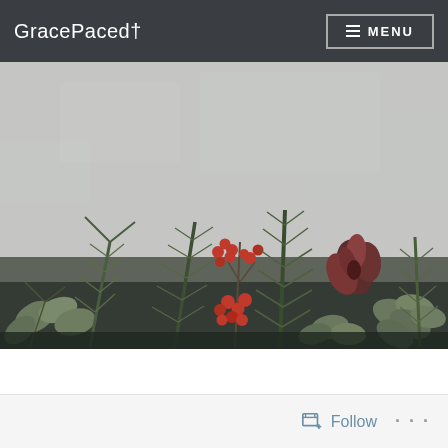GracePacedt
[Figure (photo): Botanical flat lay photo showing pine branches, eucalyptus leaves, red berries, and a protea flower arranged against a grey concrete background]
Follow   ...